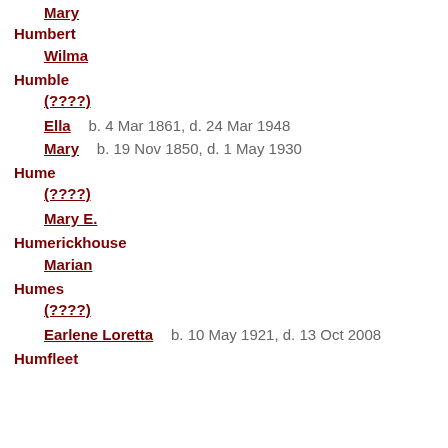Mary
Humbert
  Wilma
Humble
  (????)
  Ella   b. 4 Mar 1861, d. 24 Mar 1948
  Mary   b. 19 Nov 1850, d. 1 May 1930
Hume
  (????)
  Mary E.
Humerickhouse
  Marian
Humes
  (????)
  Earlene Loretta   b. 10 May 1921, d. 13 Oct 2008
Humfleet